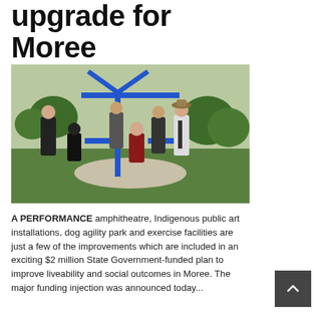upgrade for Moree
[Figure (photo): Group of six people posing around blue outdoor exercise/gym equipment in a park with green grass and trees. Two people are seated on the equipment, four are standing around it.]
A PERFORMANCE amphitheatre, Indigenous public art installations, dog agility park and exercise facilities are just a few of the improvements which are included in an exciting $2 million State Government-funded plan to improve liveability and social outcomes in Moree. The major funding injection was announced today...